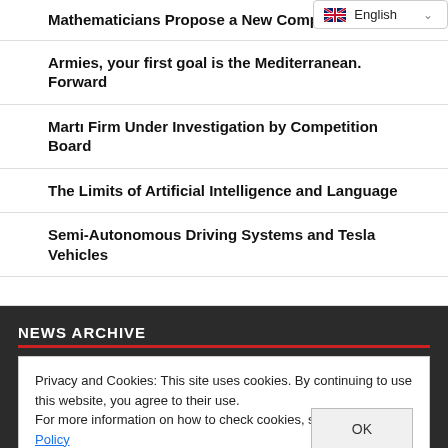Mathematicians Propose a New Computer Model
Armies, your first goal is the Mediterranean. Forward
Martı Firm Under Investigation by Competition Board
The Limits of Artificial Intelligence and Language
Semi-Autonomous Driving Systems and Tesla Vehicles
NEWS ARCHIVE
Privacy and Cookies: This site uses cookies. By continuing to use this website, you agree to their use.
For more information on how to check cookies, see here: Cookie Policy
15  16  17  18  19  20  21